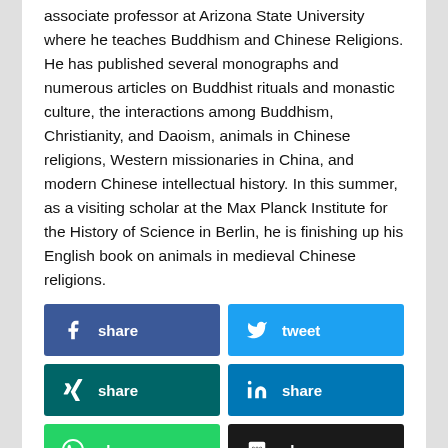associate professor at Arizona State University where he teaches Buddhism and Chinese Religions. He has published several monographs and numerous articles on Buddhist rituals and monastic culture, the interactions among Buddhism, Christianity, and Daoism, animals in Chinese religions, Western missionaries in China, and modern Chinese intellectual history. In this summer, as a visiting scholar at the Max Planck Institute for the History of Science in Berlin, he is finishing up his English book on animals in medieval Chinese religions.
[Figure (infographic): Six social media share buttons arranged in a 2x3 grid: Facebook share (dark blue), Twitter tweet (light blue), Xing share (dark teal), LinkedIn share (blue), WhatsApp share (green), Threema share (black)]
[Figure (infographic): Two red calendar buttons at the bottom: + GOOGLE CALENDAR and + ADD TO ICALENDAR]